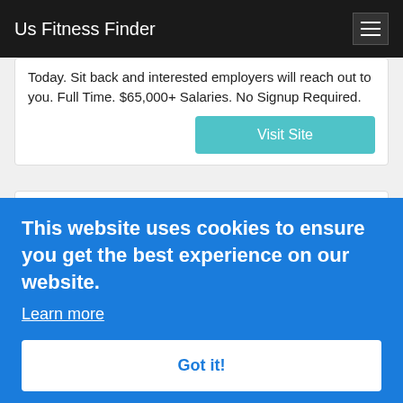Us Fitness Finder
Today. Sit back and interested employers will reach out to you. Full Time. $65,000+ Salaries. No Signup Required.
Visit Site
Malnazidos - MEGAPELIS
Posted: (53 years ago) MEGAPELIS: Ver Malnazidos. Malnazidos: Durante la Guerra Civil Española, meses de sangrientos combates han dejado tras de sí miles de muertos en las trincheras. Jan Lozano, capitán de la quinta brigada, sentencia imposible en campo enemigo
This website uses cookies to ensure you get the best experience on our website.
Learn more
Got it!
My Blog – My WordPress Blog
Posted: (53 years ago) Top Rated Online Marketing Company We